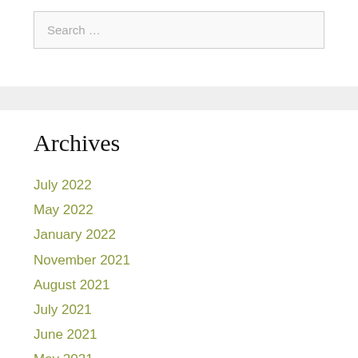Search …
Archives
July 2022
May 2022
January 2022
November 2021
August 2021
July 2021
June 2021
May 2021